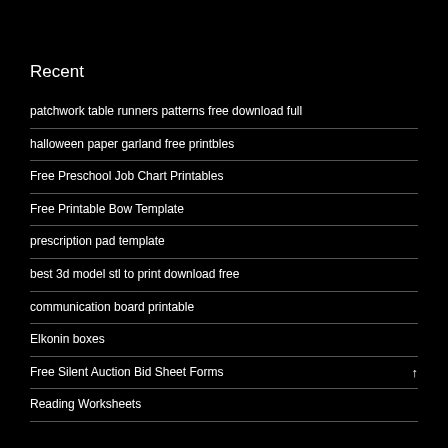Recent
patchwork table runners patterns free download full
halloween paper garland free printbles
Free Preschool Job Chart Printables
Free Printable Bow Template
prescription pad template
best 3d model stl to print download free
communication board printable
Elkonin boxes
Free Silent Auction Bid Sheet Forms
Reading Worksheets